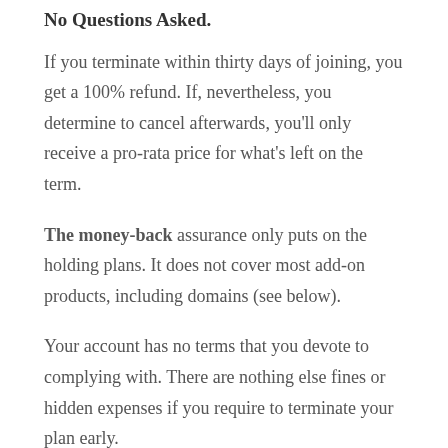No Questions Asked.
If you terminate within thirty days of joining, you get a 100% refund. If, nevertheless, you determine to cancel afterwards, you'll only receive a pro-rata price for what's left on the term.
The money-back assurance only puts on the holding plans. It does not cover most add-on products, including domains (see below).
Your account has no terms that you devote to complying with. There are nothing else fines or hidden expenses if you require to terminate your plan early.
Domain name Fees are Not Refundable.
You may obtain a complimentary domain with your holding. If you cancel the organizing, you'll be billed for it. But you will still have the domain name and be able to do with it as you please. After the